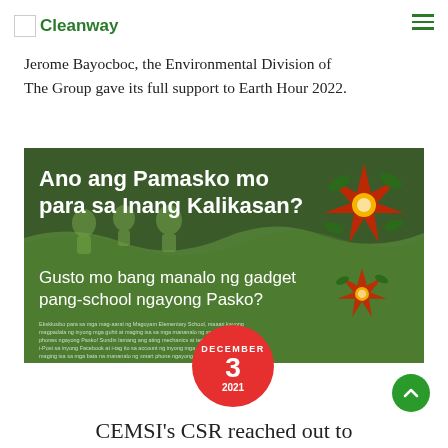Cleanway
CEMSI North Plant Plant Superintendent Reylan Alvarez and CPI Plant Superintendent Jerome Bayocboc, the Environmental Division of The Group gave its full support to Earth Hour 2022.
[Figure (photo): Green poster with text in Filipino: 'Ano ang Pamasko mo para sa Inang Kalikasan?' and 'Gusto mo bang manalo ng gadget pang-school ngayong Pasko?' with Christmas lantern (parol) decorations and children illustrations. A red circular date badge overlaps showing DECEMBER 3 2021.]
CEMSI's CSR reached out to